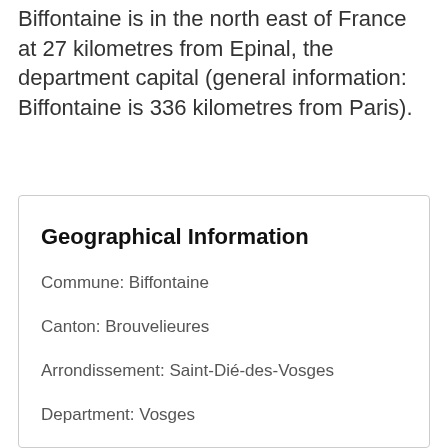Biffontaine is in the north east of France at 27 kilometres from Epinal, the department capital (general information: Biffontaine is 336 kilometres from Paris).
Geographical Information
Commune: Biffontaine
Canton: Brouvelieures
Arrondissement: Saint-Dié-des-Vosges
Department: Vosges